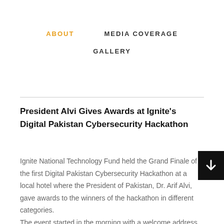ABOUT   MEDIA COVERAGE   GALLERY
President Alvi Gives Awards at Ignite's Digital Pakistan Cybersecurity Hackathon
Ignite National Technology Fund held the Grand Finale of the first Digital Pakistan Cybersecurity Hackathon at a local hotel where the President of Pakistan, Dr. Arif Alvi, gave awards to the winners of the hackathon in different categories. The event started in the morning with a welcome address by CEO Ignite, Asim Shahryar Husain, who stated that the hackathon has been a marathon which had been